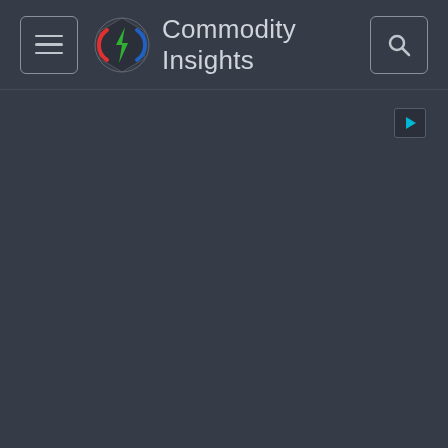Commodity Insights
[Figure (logo): Small play button icon in top-right area below header]